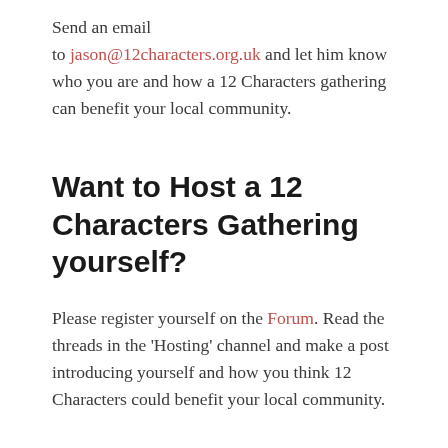Send an email to jason@12characters.org.uk and let him know who you are and how a 12 Characters gathering can benefit your local community.
Want to Host a 12 Characters Gathering yourself?
Please register yourself on the Forum. Read the threads in the 'Hosting' channel and make a post introducing yourself and how you think 12 Characters could benefit your local community.